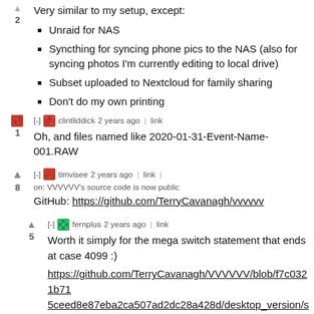Very similar to my setup, except:
Unraid for NAS
Syncthing for syncing phone pics to the NAS (also for syncing photos I'm currently editing to local drive)
Subset uploaded to Nextcloud for family sharing
Don't do my own printing
[-] clintliddick 2 years ago | link
Oh, and files named like 2020-01-31-Event-Name-001.RAW
[-] timvisee 2 years ago | link | on: VVVVVV's source code is now public
GitHub: https://github.com/TerryCavanagh/vvvvv
[-] fernplus 2 years ago | link
Worth it simply for the mega switch statement that ends at case 4099 :)
https://github.com/TerryCavanagh/VVVVVV/blob/f7c0321b715ceed8e87eba2ca507ad2dc28a428d/desktop_version/src/Game.cpp#L612
[-] jvp514 2 years ago | link